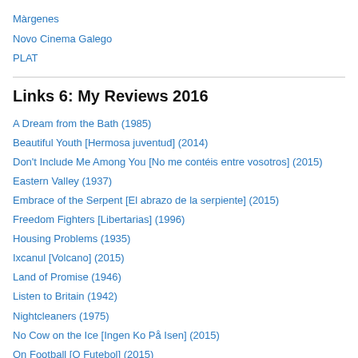Màrgenes
Novo Cinema Galego
PLAT
Links 6: My Reviews 2016
A Dream from the Bath (1985)
Beautiful Youth [Hermosa juventud] (2014)
Don't Include Me Among You [No me contéis entre vosotros] (2015)
Eastern Valley (1937)
Embrace of the Serpent [El abrazo de la serpiente] (2015)
Freedom Fighters [Libertarias] (1996)
Housing Problems (1935)
Ixcanul [Volcano] (2015)
Land of Promise (1946)
Listen to Britain (1942)
Nightcleaners (1975)
No Cow on the Ice [Ingen Ko På Isen] (2015)
On Football [O Futebol] (2015)